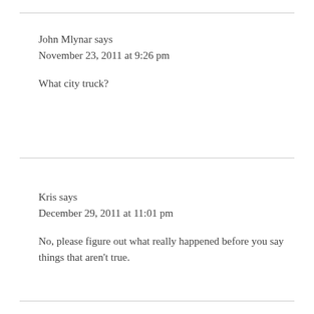John Mlynar says
November 23, 2011 at 9:26 pm
What city truck?
Kris says
December 29, 2011 at 11:01 pm
No, please figure out what really happened before you say things that aren’t true.